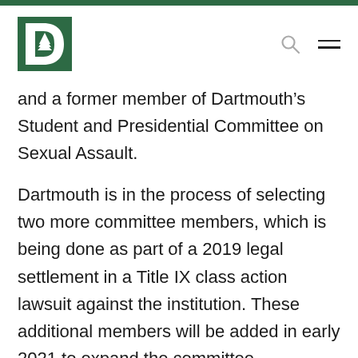Dartmouth logo header with search and menu icons
and a former member of Dartmouth’s Student and Presidential Committee on Sexual Assault.
Dartmouth is in the process of selecting two more committee members, which is being done as part of a 2019 legal settlement in a Title IX class action lawsuit against the institution. These additional members will be added in early 2021 to expand the committee membership to